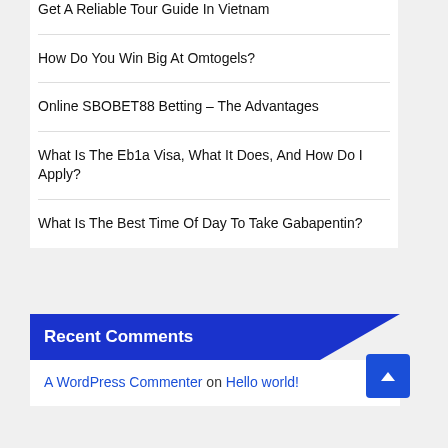Get A Reliable Tour Guide In Vietnam
How Do You Win Big At Omtogels?
Online SBOBET88 Betting – The Advantages
What Is The Eb1a Visa, What It Does, And How Do I Apply?
What Is The Best Time Of Day To Take Gabapentin?
Recent Comments
A WordPress Commenter on Hello world!